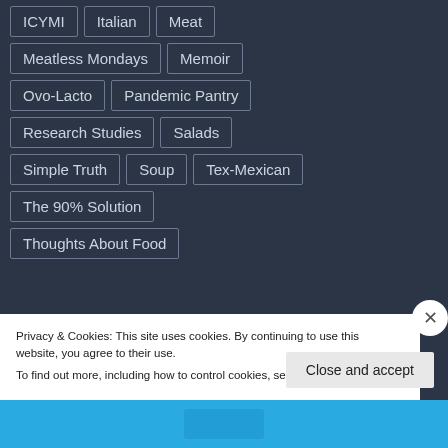ICYMI
Italian
Meat
Meatless Mondays
Memoir
Ovo-Lacto
Pandemic Pantry
Research Studies
Salads
Simple Truth
Soup
Tex-Mexican
The 90% Solution
Thoughts About Food
Privacy & Cookies: This site uses cookies. By continuing to use this website, you agree to their use.
To find out more, including how to control cookies, see here: Cookie Policy
Close and accept